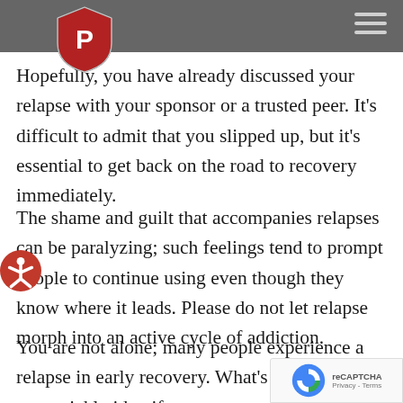Hopefully, you have already discussed your relapse with your sponsor or a trusted peer. It's difficult to admit that you slipped up, but it's essential to get back on the road to recovery immediately.
The shame and guilt that accompanies relapses can be paralyzing; such feelings tend to prompt people to continue using even though they know where it leads. Please do not let relapse morph into an active cycle of addiction.
You are not alone; many people experience a relapse in early recovery. What's salient is that you quickly identify as a newcomer, talk with your sponsor, or a trusted peer, in private about what